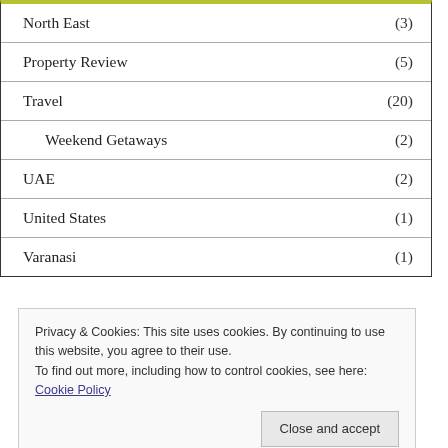North East (3)
Property Review (5)
Travel (20)
Weekend Getaways (2)
UAE (2)
United States (1)
Varanasi (1)
Privacy & Cookies: This site uses cookies. By continuing to use this website, you agree to their use.
To find out more, including how to control cookies, see here: Cookie Policy
Close and accept